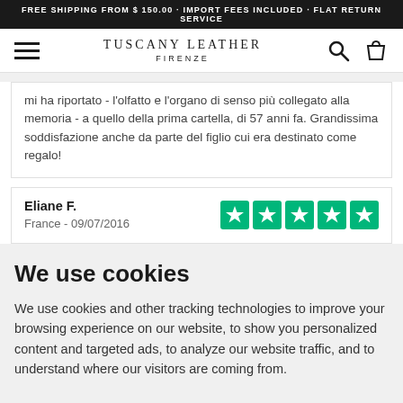FREE SHIPPING FROM $ 150.00 · IMPORT FEES INCLUDED · FLAT RETURN SERVICE
[Figure (logo): Tuscany Leather Firenze logo with hamburger menu, search icon and shopping bag icon]
mi ha riportato - l'olfatto e l'organo di senso più collegato alla memoria - a quello della prima cartella, di 57 anni fa. Grandissima soddisfazione anche da parte del figlio cui era destinato come regalo!
Eliane F.
France - 09/07/2016
We use cookies
We use cookies and other tracking technologies to improve your browsing experience on our website, to show you personalized content and targeted ads, to analyze our website traffic, and to understand where our visitors are coming from.